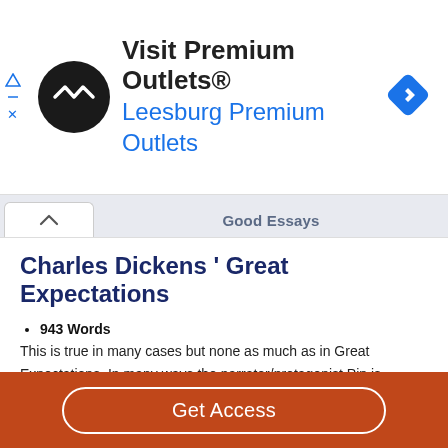[Figure (other): Advertisement banner: Visit Premium Outlets® Leesburg Premium Outlets, with a black circular logo with white arrows icon and a blue navigation diamond icon on the right]
Good Essays
Charles Dickens ' Great Expectations
943 Words
4 Pages
This is true in many cases but none as much as in Great Expectations. In many ways the narrator/protagonist Pip is Charles Dickens in body and mind. While there are many differences between the story and Charles Dickens life there remains one constant. This constant is the way Pip as the
Get Access